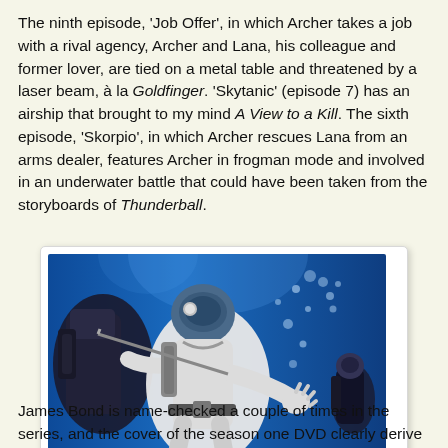The ninth episode, 'Job Offer', in which Archer takes a job with a rival agency, Archer and Lana, his colleague and former lover, are tied on a metal table and threatened by a laser beam, à la Goldfinger. 'Skytanic' (episode 7) has an airship that brought to my mind A View to a Kill. The sixth episode, 'Skorpio', in which Archer rescues Lana from an arms dealer, features Archer in frogman mode and involved in an underwater battle that could have been taken from the storyboards of Thunderball.
[Figure (illustration): Animated scene from 'Skorpio', Archer season 1, showing underwater frogman battle with cartoon characters in diving gear against a blue underwater background with bubbles.]
A scene from 'Skorpio', Archer, season 1
James Bond is name-checked a couple of times in the series, and the cover of the season one DVD clearly derive...